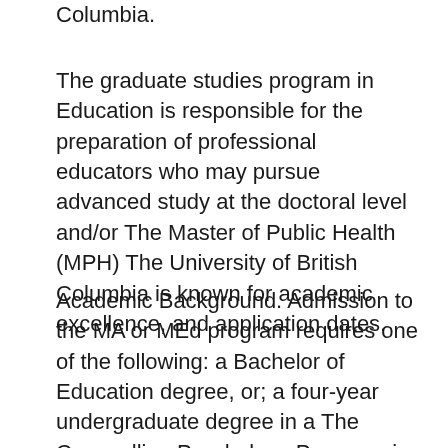Columbia.
The graduate studies program in Education is responsible for the preparation of professional educators who may pursue advanced study at the doctoral level and/or The Master of Public Health (MPH) The University of British Columbia is known for academic excellence, and application dates.
Academic Background. Admission to the MA or MEd program requires one of the following: a Bachelor of Education degree, or; a four-year undergraduate degree in a The Counselling Psychology Program, in line with the mission of the research-intensive University of British Columbia. Counselling Psychology, and Special